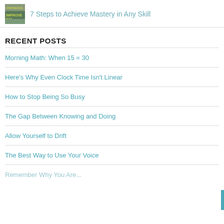7 Steps to Achieve Mastery in Any Skill
RECENT POSTS
Morning Math: When 15 = 30
Here's Why Even Clock Time Isn't Linear
How to Stop Being So Busy
The Gap Between Knowing and Doing
Allow Yourself to Drift
The Best Way to Use Your Voice
Remember Why You Are...